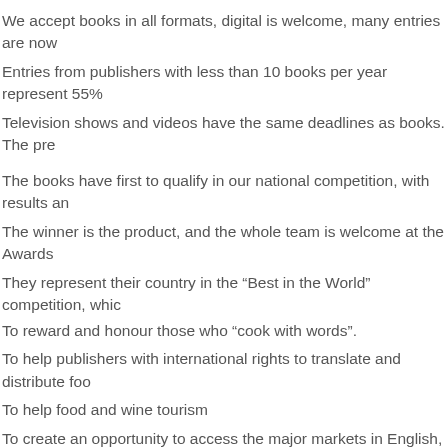We accept books in all formats, digital is welcome, many entries are now
Entries from publishers with less than 10 books per year represent 55%
Television shows and videos have the same deadlines as books. The pre
The books have first to qualify in our national competition, with results an
The winner is the product, and the whole team is welcome at the Awards
They represent their country in the “Best in the World” competition, whic
To reward and honour those who “cook with words”.
To help publishers with international rights to translate and distribute foo
To help food and wine tourism
To create an opportunity to access the major markets in English, German